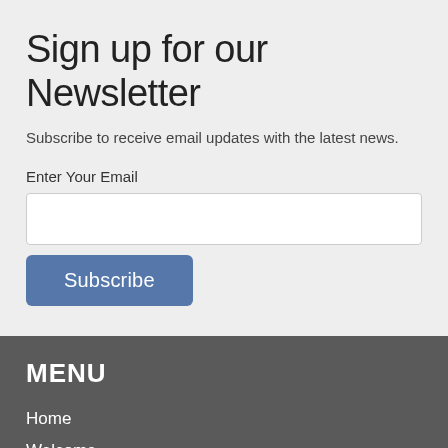Sign up for our Newsletter
Subscribe to receive email updates with the latest news.
Enter Your Email
[Figure (screenshot): Email input text field, empty, white background with light border]
Subscribe
MENU
Home
Welcome
Worship